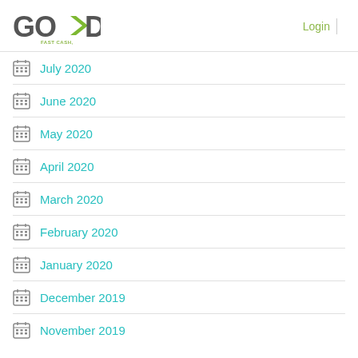GODAY - Fast Cash, Click and Go! | Login
July 2020
June 2020
May 2020
April 2020
March 2020
February 2020
January 2020
December 2019
November 2019